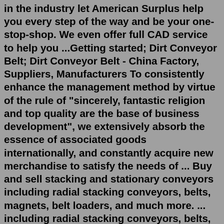in the industry let American Surplus help you every step of the way and be your one-stop-shop. We even offer full CAD service to help you ...Getting started; Dirt Conveyor Belt; Dirt Conveyor Belt - China Factory, Suppliers, Manufacturers To consistently enhance the management method by virtue of the rule of "sincerely, fantastic religion and top quality are the base of business development", we extensively absorb the essence of associated goods internationally, and constantly acquire new merchandise to satisfy the needs of ... Buy and sell stacking and stationary conveyors including radial stacking conveyors, belts, magnets, belt loaders, and much more. ... including radial stacking conveyors, belts, magnets, and belt loaders. Conveyors Belt Conveyor Magnet. Top Categories. Conveyor See All 177 Items. ... rock dirt screen. Customers who viewed this category also ...He bought the old bale elevator from a neighbor for $500 and got a 20-ft. long, 2-ft. wide heavy-duty belt conveyor from a local potato equipment